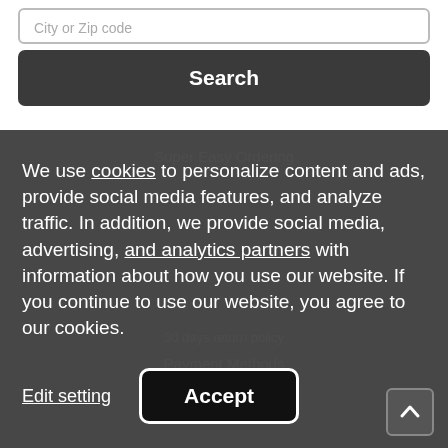City or Zip code
Search
Super Easy Ordering
We use cookies to personalize content and ads, provide social media features, and analyze traffic. In addition, we provide social media, advertising, and analytics partners with information about how you use our website. If you continue to use our website, you agree to our cookies.
30 days return policy
Payment Methods
Edit setting
Accept